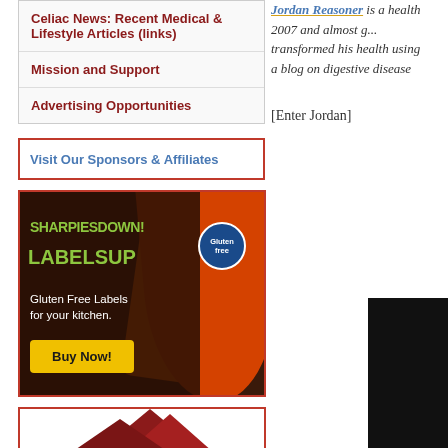Celiac News: Recent Medical & Lifestyle Articles (links)
Mission and Support
Advertising Opportunities
Visit Our Sponsors & Affiliates
[Figure (photo): Advertisement image for Sharpies Down! Labels Up! — Gluten Free Labels for your kitchen. Buy Now! button, with orange food containers in background and a Gluten Free badge.]
[Figure (photo): Partial bottom advertisement with dark red triangular shapes on white background.]
Jordan Reasoner is a health... 2007 and almost g... transformed his health using... a blog on digestive disease...
[Enter Jordan]